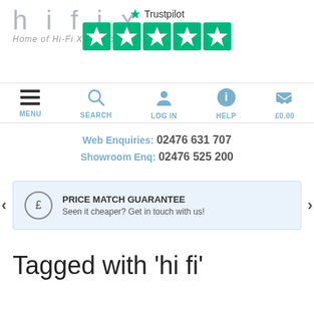[Figure (logo): hifix logo with tagline 'Home of Hi-Fi Xcellence']
[Figure (other): Trustpilot 5-star rating widget with green stars]
[Figure (other): Navigation bar with MENU, SEARCH, LOG IN, HELP, £0.00 icons]
Web Enquiries:  02476 631 707
Showroom Enq:  02476 525 200
PRICE MATCH GUARANTEE
Seen it cheaper? Get in touch with us!
Tagged with 'hi fi'